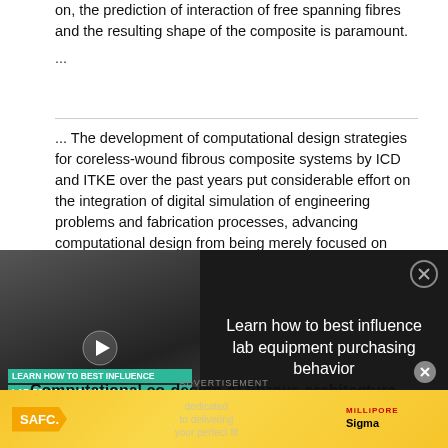on, the prediction of interaction of free spanning fibres and the resulting shape of the composite is paramount.
...
... The development of computational design strategies for coreless-wound fibrous composite systems by ICD and ITKE over the past years put considerable effort on the integration of digital simulation of engineering problems and fabrication processes, advancing computational design from being merely focused on architectural concerns towards truly integrative computational design, negotiating multiple and oftentimes contradictory requirements and related
[Figure (screenshot): Advertising overlay with a video thumbnail on the left showing lab equipment with text 'LEARN HOW TO BEST INFLUENCE LAB EQUIPMENT PURCHASING BEHAVIOR' and a play button. On the right, dark panel with white text: 'Learn how to best influence lab equipment purchasing behavior' and a close (X) button.]
Computational co-design of fibrous architecture
[Figure (infographic): Bottom advertisement banner for SAFC / MilliporeSigma with yellow/gold background. Contains SAFC logo on left, small text in center reading 'dedicated to delivering your perfect fit', and MilliporeSigma logo on right. An 'ADVERTISEMENT' label and close (x) button are visible above the banner.]